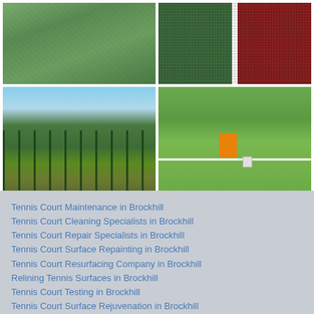[Figure (photo): Aerial view of a green tennis/sports court surface]
[Figure (photo): Close-up of a textured court surface showing red and green rubber granules with a white line boundary]
[Figure (photo): Fenced outdoor green sports court with floodlights and trees in background]
[Figure (photo): Worker in hi-vis vest painting white line on a green tennis court surface, with paint buckets nearby]
Tennis Court Maintenance in Brockhill
Tennis Court Cleaning Specialists in Brockhill
Tennis Court Repair Specialists in Brockhill
Tennis Court Surface Repainting in Brockhill
Tennis Court Resurfacing Company in Brockhill
Relining Tennis Surfaces in Brockhill
Tennis Court Testing in Brockhill
Tennis Court Surface Rejuvenation in Brockhill